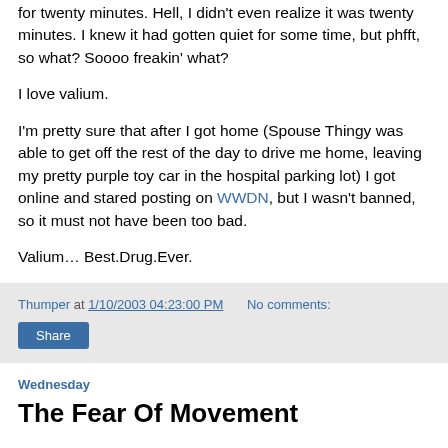for twenty minutes. Hell, I didn't even realize it was twenty minutes. I knew it had gotten quiet for some time, but phfft, so what? Soooo freakin' what?
I love valium.
I'm pretty sure that after I got home (Spouse Thingy was able to get off the rest of the day to drive me home, leaving my pretty purple toy car in the hospital parking lot) I got online and stared posting on WWDN, but I wasn't banned, so it must not have been too bad.
Valium… Best.Drug.Ever.
Thumper at 1/10/2003 04:23:00 PM   No comments:
Share
Wednesday
The Fear Of Movement